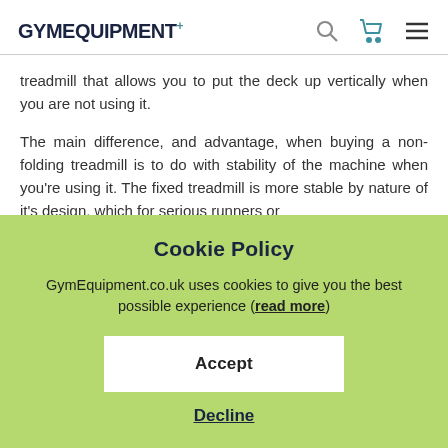GYMEQUIPMENT+
treadmill that allows you to put the deck up vertically when you are not using it.
The main difference, and advantage, when buying a non-folding treadmill is to do with stability of the machine when you're using it. The fixed treadmill is more stable by nature of it's design, which for serious runners or
Cookie Policy
GymEquipment.co.uk uses cookies to give you the best possible experience (read more)
Accept
Decline